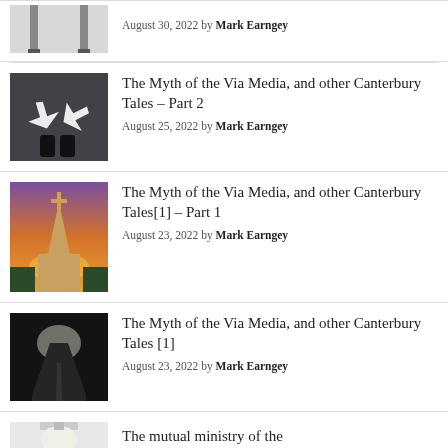[Figure (photo): Partial view of chair legs, black and white]
August 30, 2022 by Mark Earngey
[Figure (photo): Person's feet from above with two white arrows on dark pavement]
The Myth of the Via Media, and other Canterbury Tales – Part 2
August 25, 2022 by Mark Earngey
[Figure (photo): Church steeple with cross against a dramatic orange and purple sunset sky]
The Myth of the Via Media, and other Canterbury Tales[1] – Part 1
August 23, 2022 by Mark Earngey
[Figure (photo): Dark misty forest road with light at the end]
The Myth of the Via Media, and other Canterbury Tales [1]
August 23, 2022 by Mark Earngey
[Figure (photo): Indoor light fixture, white ceiling]
The mutual ministry of the